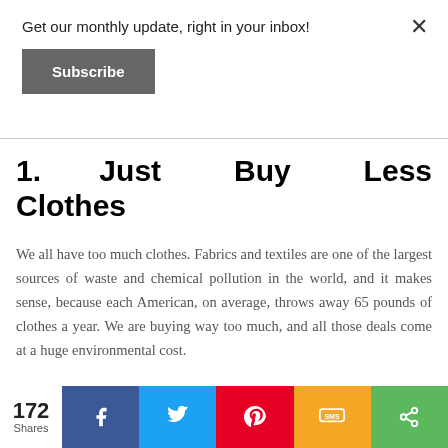Get our monthly update, right in your inbox!
Subscribe
1.  Just  Buy  Less Clothes
We all have too much clothes. Fabrics and textiles are one of the largest sources of waste and chemical pollution in the world, and it makes sense, because each American, on average, throws away 65 pounds of clothes a year. We are buying way too much, and all those deals come at a huge environmental cost.
172 Shares